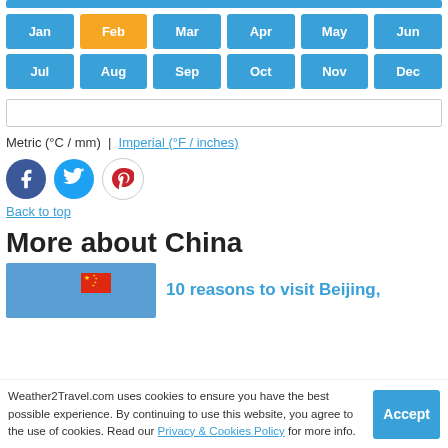[Figure (other): Top blue bar strip (partial)]
Jan Feb Mar Apr May Jun Jul Aug Sep Oct Nov Dec - month selector buttons, Feb highlighted in orange
[Figure (other): Search input box]
Metric (°C / mm)  |  Imperial (°F / inches)
[Figure (other): Social share icons: Facebook, Twitter, Pinterest]
Back to top
More about China
[Figure (photo): Blue image with Chinese flag, linked to '10 reasons to visit Beijing,']
10 reasons to visit Beijing,
Weather2Travel.com uses cookies to ensure you have the best possible experience. By continuing to use this website, you agree to the use of cookies. Read our Privacy & Cookies Policy for more info.